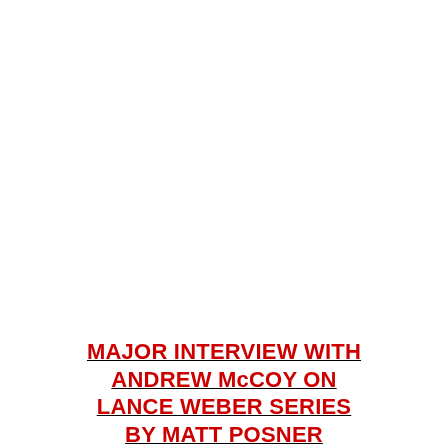MAJOR INTERVIEW WITH ANDREW McCOY ON LANCE WEBER SERIES BY MATT POSNER